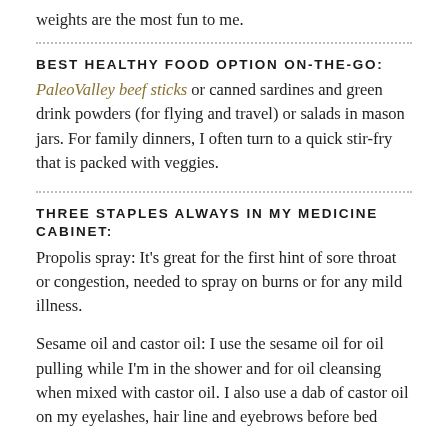weights are the most fun to me.
BEST HEALTHY FOOD OPTION ON-THE-GO:
PaleoValley beef sticks or canned sardines and green drink powders (for flying and travel) or salads in mason jars. For family dinners, I often turn to a quick stir-fry that is packed with veggies.
THREE STAPLES ALWAYS IN MY MEDICINE CABINET:
Propolis spray: It’s great for the first hint of sore throat or congestion, needed to spray on burns or for any mild illness.
Sesame oil and castor oil: I use the sesame oil for oil pulling while I’m in the shower and for oil cleansing when mixed with castor oil. I also use a dab of castor oil on my eyelashes, hair line and eyebrows before bed